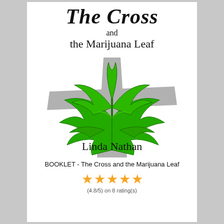The Cross and the Marijuana Leaf
[Figure (illustration): A green marijuana leaf overlaid on a cross shape with shadow on white background, with author name Linda Nathan below]
BOOKLET - The Cross and the Marijuana Leaf
[Figure (infographic): Five gold/orange star rating icons]
(4.8/5) on 8 rating(s)